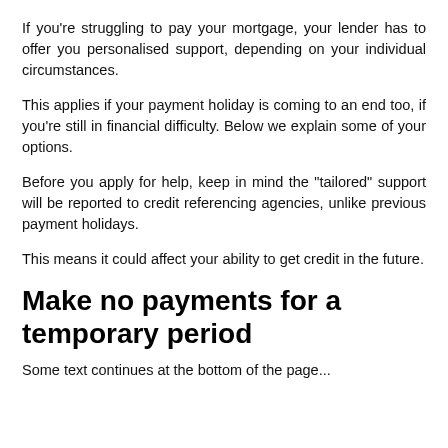If you’re struggling to pay your mortgage, your lender has to offer you personalised support, depending on your individual circumstances.
This applies if your payment holiday is coming to an end too, if you’re still in financial difficulty. Below we explain some of your options.
Before you apply for help, keep in mind the “tailored” support will be reported to credit referencing agencies, unlike previous payment holidays.
This means it could affect your ability to get credit in the future.
Make no payments for a temporary period
Some text continues below describing additional options...